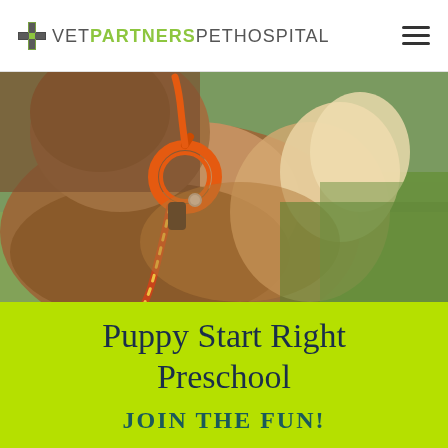VetPartners Pet Hospital
[Figure (photo): Close-up photo of a fluffy dog wearing an orange rope harness/leash, sitting on green grass, viewed from behind/side showing fur and collar]
Puppy Start Right Preschool
JOIN THE FUN!